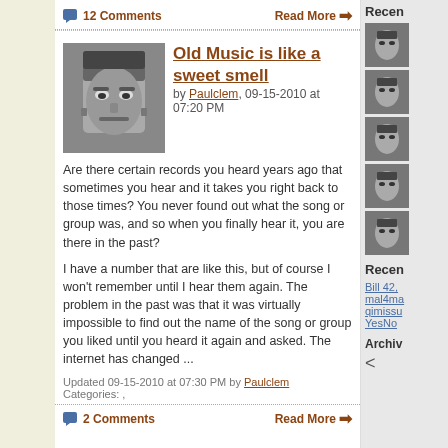💬 12 Comments
Read More →
Old Music is like a sweet smell
by Paulclem, 09-15-2010 at 07:20 PM
Are there certain records you heard years ago that sometimes you hear and it takes you right back to those times? You never found out what the song or group was, and so when you finally hear it, you are there in the past?
I have a number that are like this, but of course I won't remember until I hear them again. The problem in the past was that it was virtually impossible to find out the name of the song or group you liked until you heard it again and asked. The internet has changed ...
Updated 09-15-2010 at 07:30 PM by Paulclem
Categories: ,
💬 2 Comments
Read More →
Recen
Bill 42, mal4ma qimissu YesNo
Archiv
<